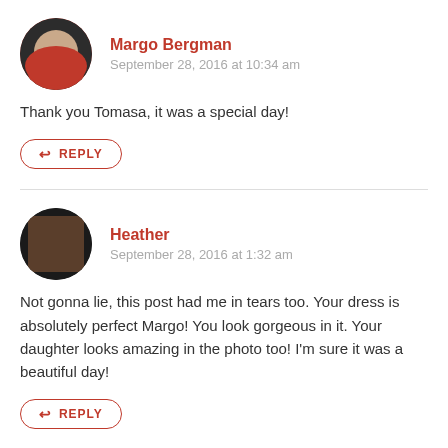[Figure (photo): Circular avatar photo of Margo Bergman, a woman wearing a red scarf]
Margo Bergman
September 28, 2016 at 10:34 am
Thank you Tomasa, it was a special day!
↩ REPLY
[Figure (photo): Circular avatar photo of Heather]
Heather
September 28, 2016 at 1:32 am
Not gonna lie, this post had me in tears too. Your dress is absolutely perfect Margo! You look gorgeous in it. Your daughter looks amazing in the photo too! I'm sure it was a beautiful day!
↩ REPLY